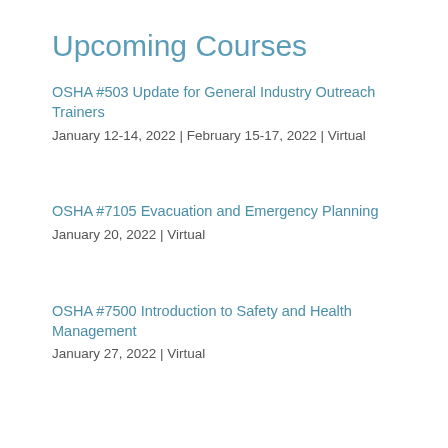Upcoming Courses
OSHA #503 Update for General Industry Outreach Trainers
January 12-14, 2022 | February 15-17, 2022 | Virtual
OSHA #7105 Evacuation and Emergency Planning
January 20, 2022 | Virtual
OSHA #7500 Introduction to Safety and Health Management
January 27, 2022 | Virtual